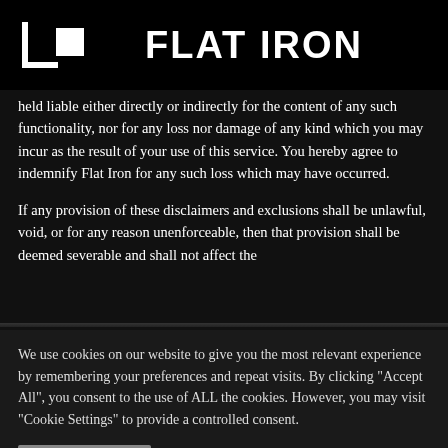FLAT IRON
held liable either directly or indirectly for the content of any such functionality, nor for any loss nor damage of any kind which you may incur as the result of your use of this service. You hereby agree to indemnify Flat Iron for any such loss which may have occurred.
If any provision of these disclaimers and exclusions shall be unlawful, void, or for any reason unenforceable, then that provision shall be deemed severable and shall not affect the
We use cookies on our website to give you the most relevant experience by remembering your preferences and repeat visits. By clicking "Accept All", you consent to the use of ALL the cookies. However, you may visit "Cookie Settings" to provide a controlled consent.
Cookie Settings
Accept All